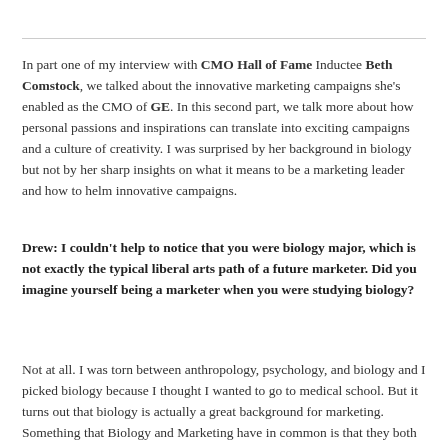In part one of my interview with CMO Hall of Fame Inductee Beth Comstock, we talked about the innovative marketing campaigns she's enabled as the CMO of GE. In this second part, we talk more about how personal passions and inspirations can translate into exciting campaigns and a culture of creativity. I was surprised by her background in biology but not by her sharp insights on what it means to be a marketing leader and how to helm innovative campaigns.
Drew: I couldn't help to notice that you were biology major, which is not exactly the typical liberal arts path of a future marketer. Did you imagine yourself being a marketer when you were studying biology?
Not at all. I was torn between anthropology, psychology, and biology and I picked biology because I thought I wanted to go to medical school. But it turns out that biology is actually a great background for marketing. Something that Biology and Marketing have in common is that they both deal with the interconnectivity of each individual living thing to a broader system and that's the